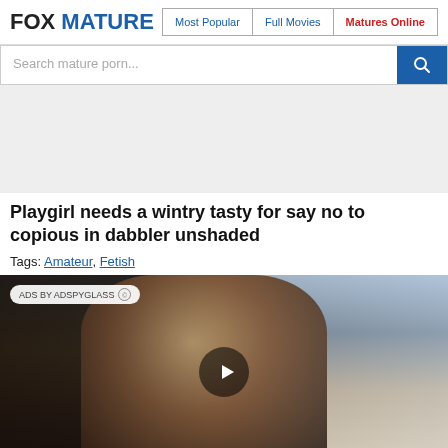FOX MATURE | Most Popular | Full Movies | Matures Online
Search mature porn...
[Figure (other): Gray advertisement banner area]
Playgirl needs a wintry tasty for say no to copious in dabbler unshaded
Tags: Amateur, Fetish
[Figure (photo): Video thumbnail showing two people, with ADS BY ADSPYGLASS badge and a play button overlay]